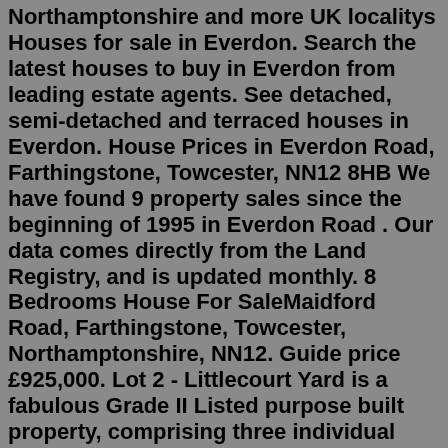Northamptonshire and more UK localitys Houses for sale in Everdon. Search the latest houses to buy in Everdon from leading estate agents. See detached, semi-detached and terraced houses in Everdon. House Prices in Everdon Road, Farthingstone, Towcester, NN12 8HB We have found 9 property sales since the beginning of 1995 in Everdon Road . Our data comes directly from the Land Registry, and is updated monthly. 8 Bedrooms House For SaleMaidford Road, Farthingstone, Towcester, Northamptonshire, NN12. Guide price £925,000. Lot 2 - Littlecourt Yard is a fabulous Grade II Listed purpose built property, comprising three individual properties. In all about 9.1 acres. 8. Great Everdon. Latest. Keogh stars with ton as Northants make Bears toil. Attribution. Cricket. Posted. ... Wife's house sold by council in football loan saga. Attribution. Northampton. Posted.View Daniel van der Putten artworks sold at auction to research and compare prices. Subscribe to access price results for 150,000 artists! ... Real Estate (1) ... Daniel van der Putten (b.1949) Dutch On the